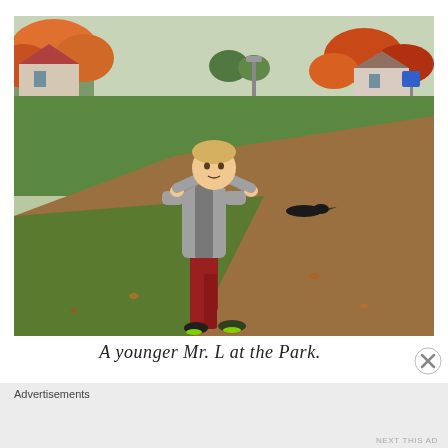[Figure (photo): A young boy wearing a grey hoodie and red pants standing in a park on an autumn day. The grass is green and brown, fall-colored trees are visible in the background along with houses and a road.]
A younger Mr. L at the Park.
Advertisements